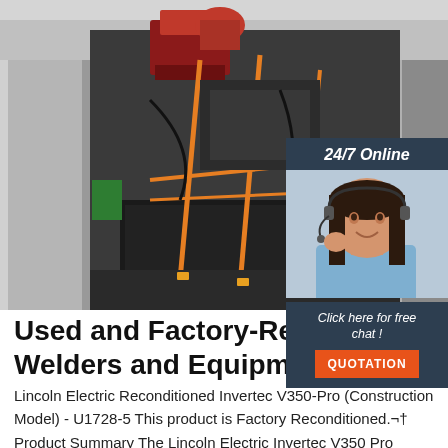[Figure (photo): Photo of industrial welding equipment and machinery loaded inside a shipping container, secured with orange straps. Equipment includes red and grey machines.]
[Figure (photo): Sidebar widget showing a female customer service agent wearing a headset, smiling, overlaid on a dark navy background. Above her is '24/7 Online' text, and below is 'Click here for free chat!' text with an orange QUOTATION button.]
Used and Factory-Reconditioned Welders and Equipment
Lincoln Electric Reconditioned Invertec V350-Pro (Construction Model) - U1728-5 This product is Factory Reconditioned.¬† Product Summary The Lincoln Electric Invertec V350 Pro Welder is a multi-process machine with applications in metal and structural fabrication, construction, welding